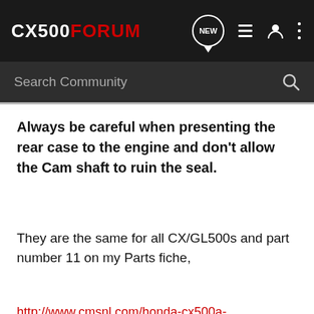CX500FORUM
Always be careful when presenting the rear case to the engine and don't allow the Cam shaft to ruin the seal.
They are the same for all CX/GL500s and part number 11 on my Parts fiche,
http://www.cmsnl.com/honda-cx500a-1980england_model16465/partslist/E12.html